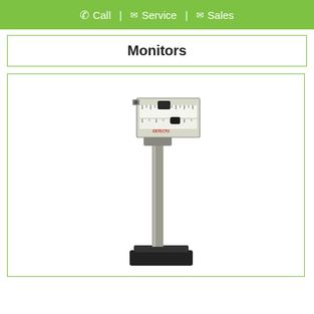Call | Service | Sales
Monitors
[Figure (photo): A medical/clinical beam balance scale (physician scale) with a tall gray post column, a beam balance mechanism at the top with sliding weights, and a black rectangular base platform. The scale appears to be a Detecto or similar brand physician scale used for measuring patient weight.]